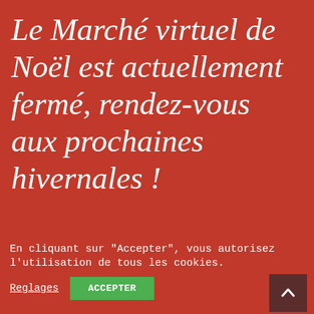Le Marché virtuel de Noël est actuellement fermé, rendez-vous aux prochaines hivernales !
the layout and how it looks. Nothing special, just a bit longer text so it takes more than one line. The Test Vendor store was very helpful and nice attitude. However, there were problems with the delivery time. Overall, I am
En cliquant sur "Accepter", vous autorisez l'utilisation de tous les cookies.
Reglages
ACCEPTER